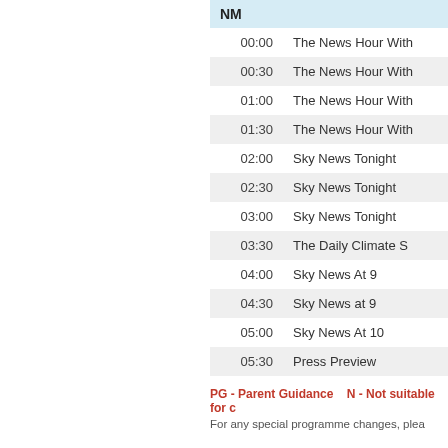| NM |  |
| --- | --- |
| 00:00 | The News Hour With |
| 00:30 | The News Hour With |
| 01:00 | The News Hour With |
| 01:30 | The News Hour With |
| 02:00 | Sky News Tonight |
| 02:30 | Sky News Tonight |
| 03:00 | Sky News Tonight |
| 03:30 | The Daily Climate S |
| 04:00 | Sky News At 9 |
| 04:30 | Sky News at 9 |
| 05:00 | Sky News At 10 |
| 05:30 | Press Preview |
PG - Parent Guidance    N - Not suitable for c
For any special programme changes, plea